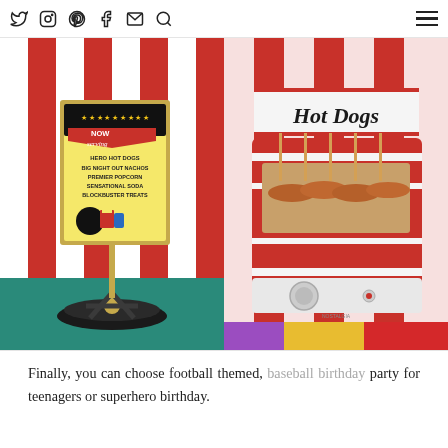Social media icons: Twitter, Instagram, Pinterest, Facebook, Email, Search, Menu
[Figure (photo): Left photo: A movie-themed party sign in a gold frame on a film reel stand, reading 'NOW serving HERO HOT DOGS, BIG NIGHT OUT NACHOS, PREMIER POPCORN, SENSATIONAL SODA, BLOCKBUSTER TREATS' with carnival red and white striped backdrop.]
[Figure (photo): Right photo: A retro red and white striped Nostalgia brand hot dog roller machine with a 'Hot Dogs' sign above, hot dogs cooking on the rollers, and colorful candy boxes visible at the bottom.]
Finally, you can choose football themed, baseball birthday party for teenagers or superhero birthday.